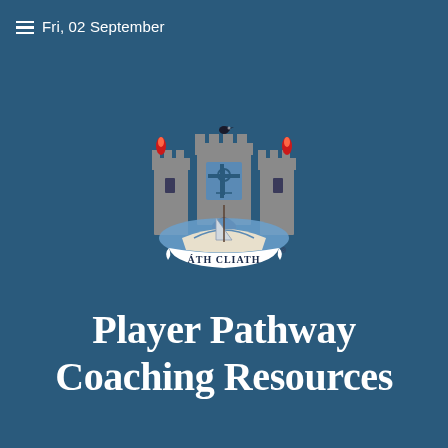Fri, 02 September
[Figure (logo): Dublin GAA crest — castle with three towers, red flames on outer towers, a bird on the center tower, shield with anchor and cross, a Viking ship below, blue banner reading 'ÁTH CLIATH']
Player Pathway Coaching Resources